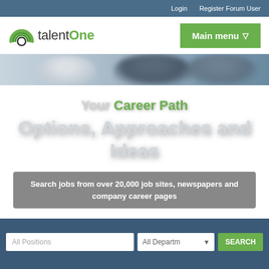Login   Register Forum User
[Figure (logo): talentOne logo with green arc/rainbow icon]
Main menu ☰
[Figure (photo): Blurred banner photo of people in an office/meeting setting]
Your Career Path
Options, Approaches and Ideas
Search jobs from over 20,000 job sites, newspapers and company career pages
All Positions   All Departments ▼   SEARCH